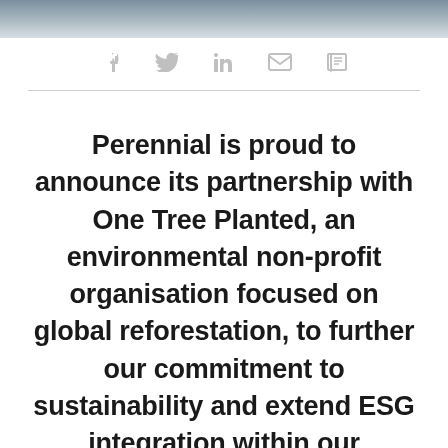[Figure (photo): Dark landscape/nature photograph banner at top of page]
Social share icons: Facebook, Twitter, LinkedIn, Email, Print
Perennial is proud to announce its partnership with One Tree Planted, an environmental non-profit organisation focused on global reforestation, to further our commitment to sustainability and extend ESG integration within our corporate strategy.